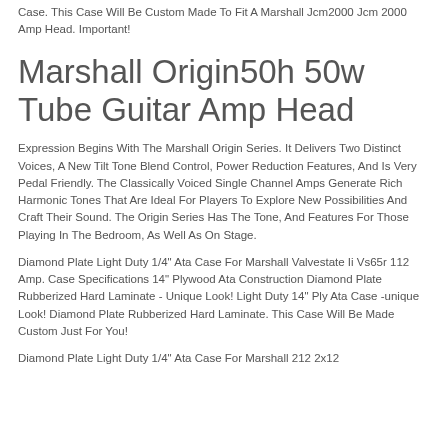Case. This Case Will Be Custom Made To Fit A Marshall Jcm2000 Jcm 2000 Amp Head. Important!
Marshall Origin50h 50w Tube Guitar Amp Head
Expression Begins With The Marshall Origin Series. It Delivers Two Distinct Voices, A New Tilt Tone Blend Control, Power Reduction Features, And Is Very Pedal Friendly. The Classically Voiced Single Channel Amps Generate Rich Harmonic Tones That Are Ideal For Players To Explore New Possibilities And Craft Their Sound. The Origin Series Has The Tone, And Features For Those Playing In The Bedroom, As Well As On Stage.
Diamond Plate Light Duty 1/4" Ata Case For Marshall Valvestate Ii Vs65r 112 Amp. Case Specifications 14" Plywood Ata Construction Diamond Plate Rubberized Hard Laminate - Unique Look! Light Duty 14" Ply Ata Case -unique Look! Diamond Plate Rubberized Hard Laminate. This Case Will Be Made Custom Just For You!
Diamond Plate Light Duty 1/4" Ata Case For Marshall 212 2x12